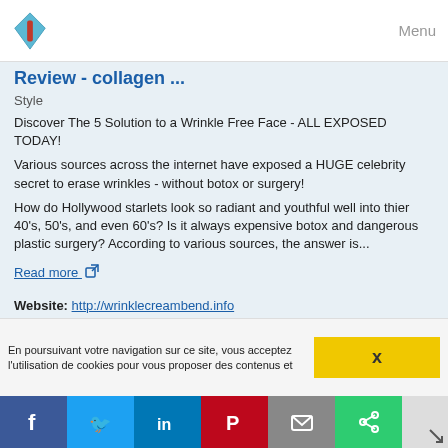Menu
Review - collagen ...
Style
Discover The 5 Solution to a Wrinkle Free Face - ALL EXPOSED TODAY!
Various sources across the internet have exposed a HUGE celebrity secret to erase wrinkles - without botox or surgery!
How do Hollywood starlets look so radiant and youthful well into thier 40's, 50's, and even 60's? Is it always expensive botox and dangerous plastic surgery? According to various sources, the answer is...
Read more
Website: http://wrinklecreambend.info
Related topics : hyaluronic acid anti aging cream / dead sea collection anti aging eye cream review / dead sea anti aging cream review / anti aging wrinkle cream ingredients /
En poursuivant votre navigation sur ce site, vous acceptez l'utilisation de cookies pour vous proposer des contenus et